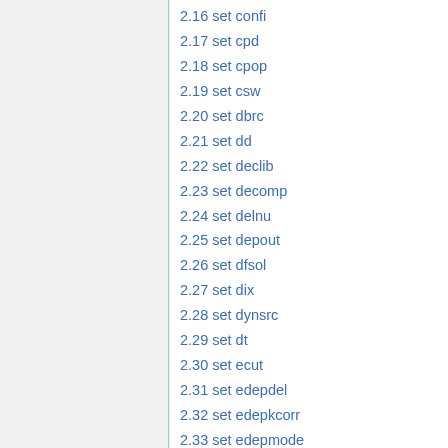2.16 set confi
2.17 set cpd
2.18 set cpop
2.19 set csw
2.20 set dbrc
2.21 set dd
2.22 set declib
2.23 set decomp
2.24 set delnu
2.25 set depout
2.26 set dfsol
2.27 set dix
2.28 set dynsrc
2.29 set dt
2.30 set ecut
2.31 set edepdel
2.32 set edepkcorr
2.33 set edepmode
2.34 set egrid
2.35 set entr